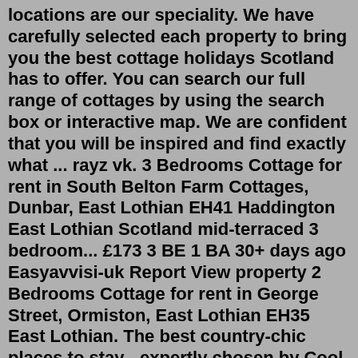locations are our speciality. We have carefully selected each property to bring you the best cottage holidays Scotland has to offer. You can search our full range of cottages by using the search box or interactive map. We are confident that you will be inspired and find exactly what ... rayz vk. 3 Bedrooms Cottage for rent in South Belton Farm Cottages, Dunbar, East Lothian EH41 Haddington East Lothian Scotland mid-terraced 3 bedroom... £173 3 BE 1 BA 30+ days ago Easyavvisi-uk Report View property 2 Bedrooms Cottage for rent in George Street, Ormiston, East Lothian EH35 East Lothian. The best country-chic places to stay - expertly chosen by Cool Places - ranging from ...For Sale - Offers in Excess of £4,000,00030 acres, Galashiel. Exceptional A listed baronial mansion house high above The River Tweed with a superb outlook and magnificent views - Galashiels 2 miles, Edinburgh 38 miles, Melrose... View property details Add to my property portfolio. Agent details: Knight Frank. Find Ireland house &